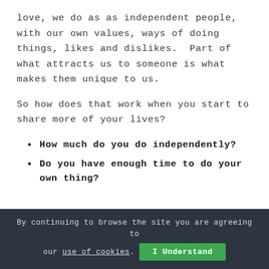love, we do as as independent people, with our own values, ways of doing things, likes and dislikes.  Part of what attracts us to someone is what makes them unique to us.
So how does that work when you start to share more of your lives?
How much do you do independently?
Do you have enough time to do your own thing?
By continuing to browse the site you are agreeing to our use of cookies.   I Understand